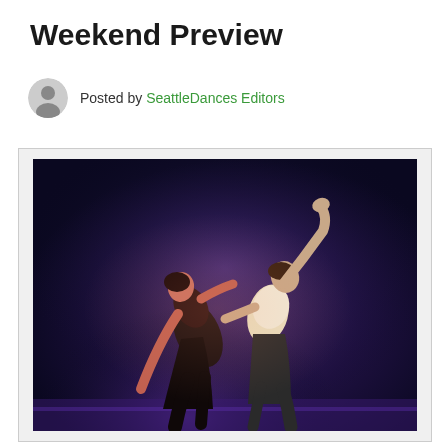Weekend Preview
Posted by SeattleDances Editors
[Figure (photo): Two dancers on a dark stage with purple/blue lighting. One dancer in black is holding and lifting the other dancer who wears a light top, both with arms raised dramatically in a modern dance performance.]